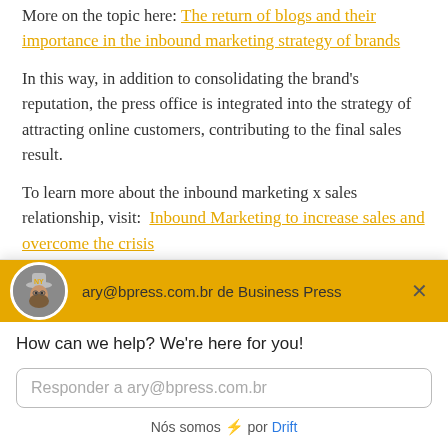More on the topic here: The return of blogs and their importance in the inbound marketing strategy of brands
In this way, in addition to consolidating the brand's reputation, the press office is integrated into the strategy of attracting online customers, contributing to the final sales result.
To learn more about the inbound marketing x sales relationship, visit: Inbound Marketing to increase sales and overcome the crisis
uccess of this strategy is linked to a few basic
ary@bpress.com.br de Business Press
How can we help? We're here for you!
Responder a ary@bpress.com.br
Nós somos ⚡ por Drift